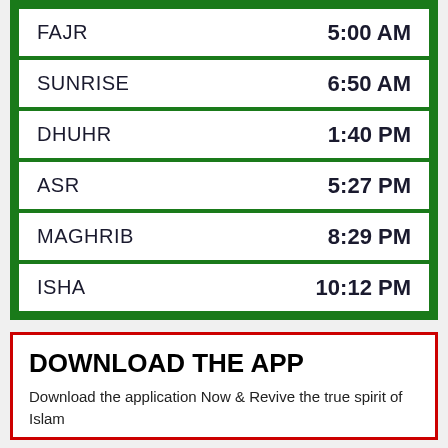| Prayer | Time |
| --- | --- |
| FAJR | 5:00 AM |
| SUNRISE | 6:50 AM |
| DHUHR | 1:40 PM |
| ASR | 5:27 PM |
| MAGHRIB | 8:29 PM |
| ISHA | 10:12 PM |
DOWNLOAD THE APP
Download the application Now & Revive the true spirit of Islam